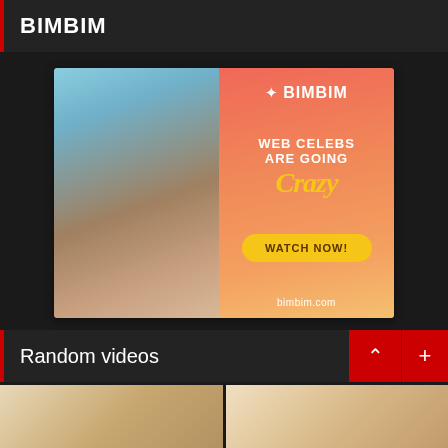BIMBIM
[Figure (photo): BIMBIM advertisement banner. Left half shows a person photo. Right half has coral/orange gradient background with BIMBIM logo, text 'WEB CELEBS ARE GOING Crazy', a yellow 'WATCH NOW!' button, and 'bimbim.com' URL.]
Random videos
[Figure (photo): Two video thumbnails side by side at the bottom of the page, partially visible.]